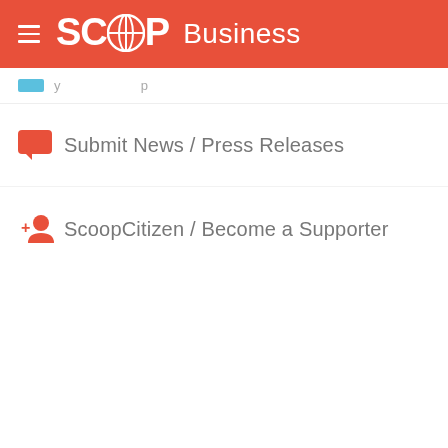SCOOP Business
Submit News / Press Releases
ScoopCitizen / Become a Supporter